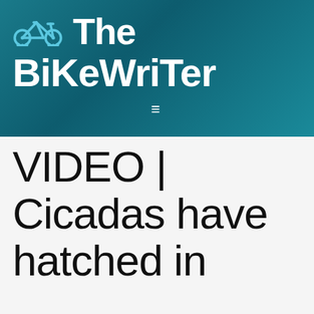[Figure (logo): The BiKeWriTer website header with bicycle icon logo and teal gradient background]
VIDEO | Cicadas have hatched in